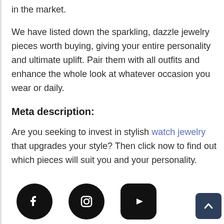in the market.
We have listed down the sparkling, dazzle jewelry pieces worth buying, giving your entire personality and ultimate uplift. Pair them with all outfits and enhance the whole look at whatever occasion you wear or daily.
Meta description:
Are you seeking to invest in stylish watch jewelry that upgrades your style? Then click now to find out which pieces will suit you and your personality.
[Figure (illustration): Social media icons: Facebook (circular black icon), Instagram (circular black icon), YouTube (rounded square black icon), and a back-to-top arrow button in dark navy blue.]